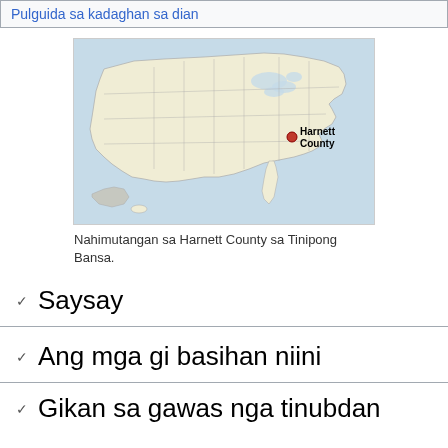Pulguida sa kadaghan sa dian
[Figure (map): Map of the United States with a red dot marking the location of Harnett County, labeled 'Harnett County' on the right side of the map.]
Nahimutangan sa Harnett County sa Tinipong Bansa.
Saysay
Ang mga gi basihan niini
Gikan sa gawas nga tinubdan